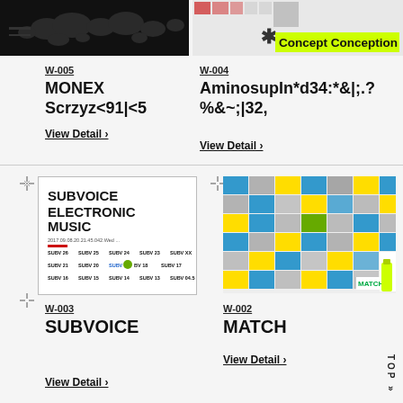[Figure (photo): Black world map image in top-left header area]
[Figure (screenshot): Concept Conception header image with lime-green label overlay and asterisk icon]
W-005
MONEX Scrzyz<91|<5
View Detail ›
W-004
AminosupIn*d34:*&|;.?%&~;|32,
View Detail ›
[Figure (photo): SUBVOICE ELECTRONIC MUSIC event poster 2017]
W-003
SUBVOICE
View Detail ›
[Figure (photo): MATCH brand mosaic grid of colorful photo tiles in blue, yellow and green]
W-002
MATCH
View Detail ›
TOP »